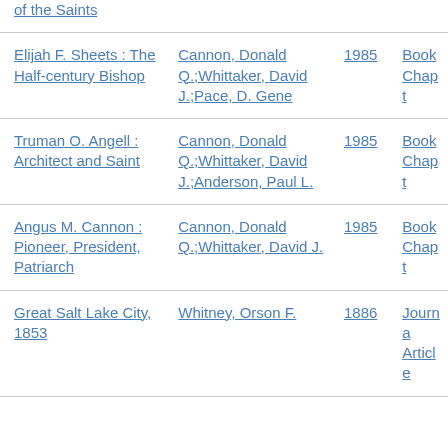| Title | Author | Year | Type |
| --- | --- | --- | --- |
| of the Saints |  |  |  |
| Elijah F. Sheets : The Half-century Bishop | Cannon, Donald Q.;Whittaker, David J.;Pace, D. Gene | 1985 | Book Chapt… |
| Truman O. Angell : Architect and Saint | Cannon, Donald Q.;Whittaker, David J.;Anderson, Paul L. | 1985 | Book Chapt… |
| Angus M. Cannon : Pioneer, President, Patriarch | Cannon, Donald Q.;Whittaker, David J. | 1985 | Book Chapt… |
| Great Salt Lake City, 1853 | Whitney, Orson F. | 1886 | Journa… Article… |